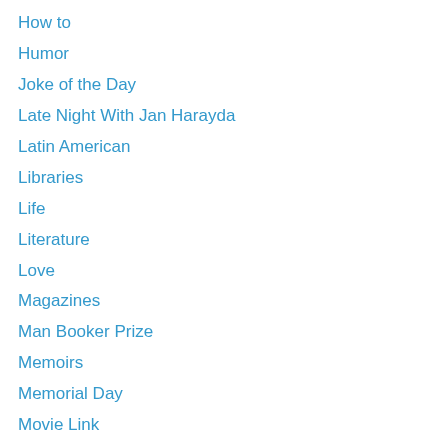How to
Humor
Joke of the Day
Late Night With Jan Harayda
Latin American
Libraries
Life
Literature
Love
Magazines
Man Booker Prize
Memoirs
Memorial Day
Movie Link
Mysteries and Thrillers
National Book Awards
Nature
Newbery Medals
News
Newspapers